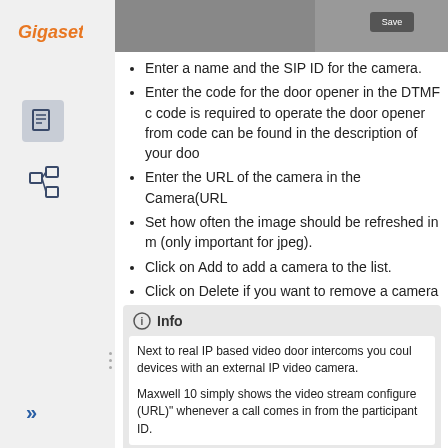[Figure (screenshot): Gigaset web interface top bar with Save button, partially visible]
Enter a name and the SIP ID for the camera.
Enter the code for the door opener in the DTMF code is required to operate the door opener from code can be found in the description of your door
Enter the URL of the camera in the Camera(URL
Set how often the image should be refreshed in m (only important for jpeg).
Click on Add to add a camera to the list.
Click on Delete if you want to remove a camera f
Click on Save to save your settings.
Info
Next to real IP based video door intercoms you could devices with an external IP video camera.
Maxwell 10 simply shows the video stream configure (URL)" whenever a call comes in from the participant ID.